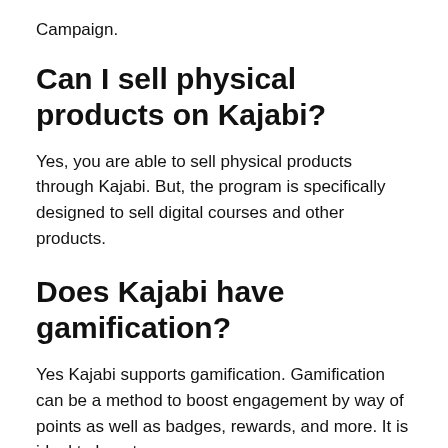Campaign.
Can I sell physical products on Kajabi?
Yes, you are able to sell physical products through Kajabi. But, the program is specifically designed to sell digital courses and other products.
Does Kajabi have gamification?
Yes Kajabi supports gamification. Gamification can be a method to boost engagement by way of points as well as badges, rewards, and more. It is ideal to boost…